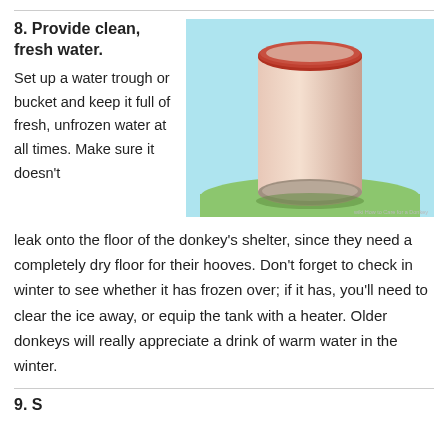8. Provide clean, fresh water.
[Figure (illustration): Illustration of a cylindrical water trough/bucket (cream/salmon color with red rim) sitting on green grass against a light blue sky background. WikiHow 'How to Care for a Donkey' watermark in bottom right.]
Set up a water trough or bucket and keep it full of fresh, unfrozen water at all times. Make sure it doesn't leak onto the floor of the donkey's shelter, since they need a completely dry floor for their hooves. Don't forget to check in winter to see whether it has frozen over; if it has, you'll need to clear the ice away, or equip the tank with a heater. Older donkeys will really appreciate a drink of warm water in the winter.